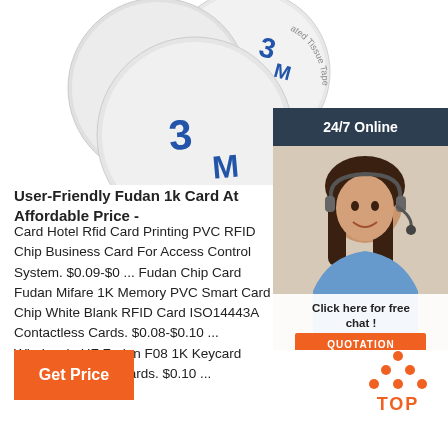[Figure (photo): Three white circular NFC/RFID coin tags with 3M adhesive tape backing, arranged overlapping on white background]
[Figure (photo): 24/7 Online customer service banner with female agent wearing headset, with 'Click here for free chat!' text and orange QUOTATION button]
User-Friendly Fudan 1k Card At Affordable Price -
Card Hotel Rfid Card Printing PVC RFID Chip Business Card For Access Control System. $0.09-$0 ... Fudan Chip Card Fudan Mifare 1K Memory PVC Smart Card Chip White Blank RFID Card ISO14443A Contactless Cards. $0.08-$0.10 ... Wholesale HF Fudan F08 1K Keycard Access Entrance Cards. $0.10 ...
[Figure (other): Orange 'Get Price' button]
[Figure (other): TOP icon with orange dots arranged in triangle pattern above text 'TOP']